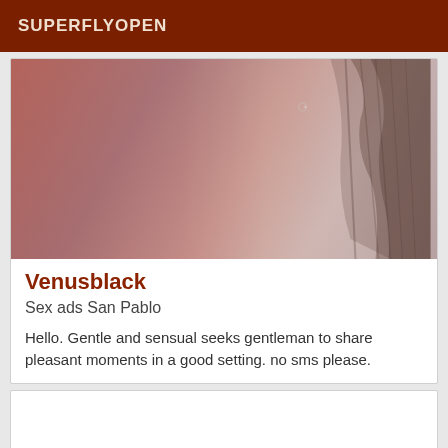SUPERFLYOPEN
[Figure (photo): Close-up photo of a person's skin/back area with hair visible on the right side, warm reddish-pink tones]
Venusblack
Sex ads San Pablo
Hello. Gentle and sensual seeks gentleman to share pleasant moments in a good setting. no sms please.